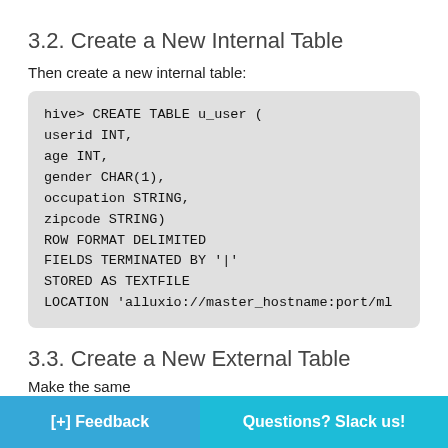3.2. Create a New Internal Table
Then create a new internal table:
[Figure (screenshot): Code block showing Hive SQL CREATE TABLE statement for u_user table with fields userid INT, age INT, gender CHAR(1), occupation STRING, zipcode STRING, ROW FORMAT DELIMITED, FIELDS TERMINATED BY '|', STORED AS TEXTFILE, LOCATION 'alluxio://master_hostname:port/ml]
3.3. Create a New External Table
Make the same
[+] Feedback
Questions? Slack us!